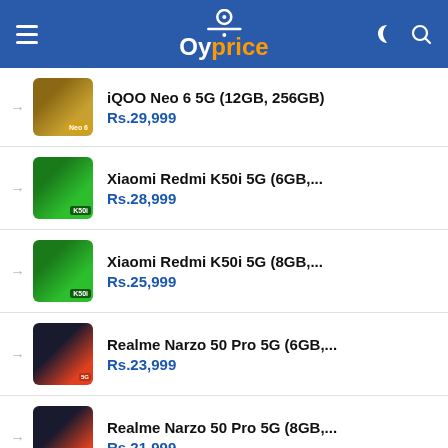Oyprice
iQOO Neo 6 5G (12GB, 256GB) — Rs.29,999
Xiaomi Redmi K50i 5G (6GB,... — Rs.28,999
Xiaomi Redmi K50i 5G (8GB,... — Rs.25,999
Realme Narzo 50 Pro 5G (6GB,... — Rs.23,999
Realme Narzo 50 Pro 5G (8GB,... — Rs.21,999
Oppo K1 (4GB, 64GB) — Rs.18,990